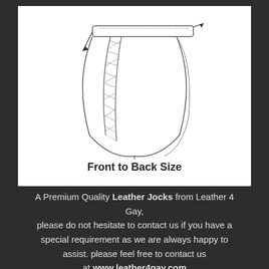[Figure (illustration): Line drawing illustration of a leather jockstrap underwear shown from a side/rear angle, with arrows indicating the front to back size measurement. The waistband is shown at the top with a diagonal arrow, and another arrow points to the bottom. The strap/pouch area shows cross-hatching detail.]
Front to Back Size
A Premium Quality Leather Jocks from Leather 4 Gay, please do not hesitate to contact us if you have a special requirement as we are always happy to assist. please feel free to contact us at www.leather4gay.com